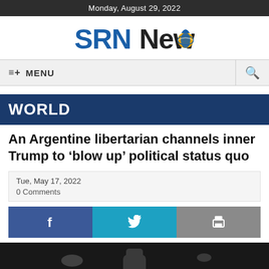Monday, August 29, 2022
[Figure (logo): SRN News logo with blue text and globe icon]
≡+ MENU
WORLD
An Argentine libertarian channels inner Trump to ‘blow up’ political status quo
Tue, May 17, 2022
0 Comments
[Figure (photo): Dark photo showing a person with fist raised, stage lighting visible]